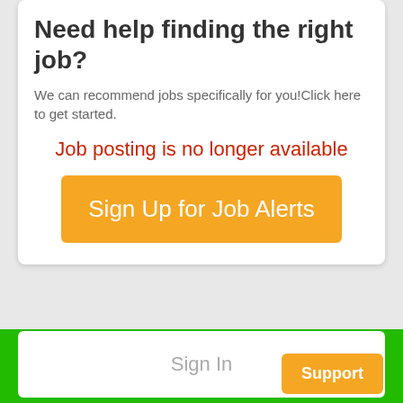Need help finding the right job?
We can recommend jobs specifically for you!Click here to get started.
Job posting is no longer available
[Figure (screenshot): Orange button labeled 'Sign Up for Job Alerts']
[Figure (screenshot): Green bottom bar with 'Sign In' button and orange 'Support' button]